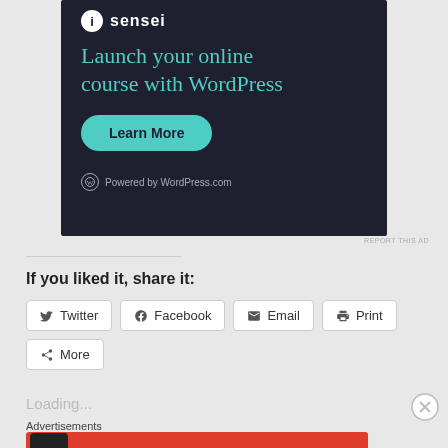[Figure (screenshot): Dark navy advertisement banner for Sensei with headline 'Launch your online course with WordPress', a teal 'Learn More' button, and 'Powered by WordPress.com' text at bottom.]
REPORT THIS AD
If you liked it, share it:
[Figure (screenshot): Share buttons row: Twitter, Facebook, Email, Print, More]
Loading...
Advertisements
[Figure (screenshot): Red Pocket Casts advertisement: 'An app by listeners, for listeners.' with phone graphic and Pocket Casts logo.]